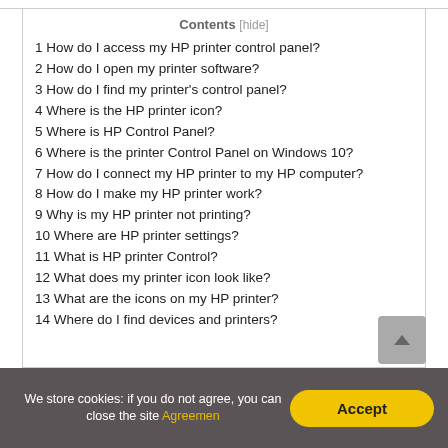1 How do I access my HP printer control panel?
2 How do I open my printer software?
3 How do I find my printer's control panel?
4 Where is the HP printer icon?
5 Where is HP Control Panel?
6 Where is the printer Control Panel on Windows 10?
7 How do I connect my HP printer to my HP computer?
8 How do I make my HP printer work?
9 Why is my HP printer not printing?
10 Where are HP printer settings?
11 What is HP printer Control?
12 What does my printer icon look like?
13 What are the icons on my HP printer?
14 Where do I find devices and printers?
We store cookies: if you do not agree, you can close the site Agreemen